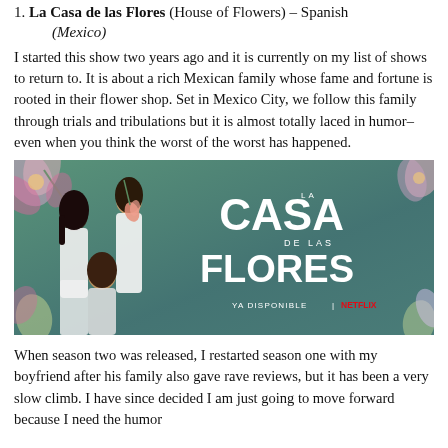1. La Casa de las Flores (House of Flowers) – Spanish (Mexico)
I started this show two years ago and it is currently on my list of shows to return to. It is about a rich Mexican family whose fame and fortune is rooted in their flower shop. Set in Mexico City, we follow this family through trials and tribulations but it is almost totally laced in humor–even when you think the worst of the worst has happened.
[Figure (photo): Netflix promotional poster for La Casa de las Flores (House of Flowers). Shows three people – two women and one man – posing against a floral background. Text reads: LA CASA DE LAS FLORES, YA DISPONIBLE | NETFLIX]
When season two was released, I restarted season one with my boyfriend after his family also gave rave reviews, but it has been a very slow climb. I have since decided I am just going to move forward because I need the humor